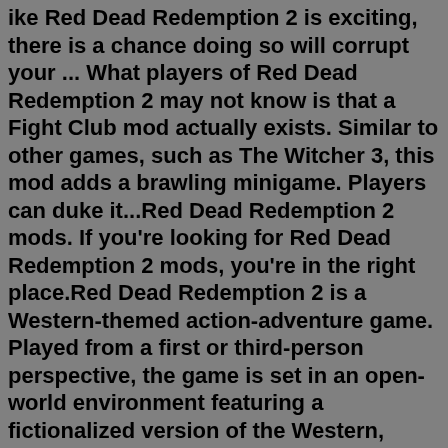ike Red Dead Redemption 2 is exciting, there is a chance doing so will corrupt your ... What players of Red Dead Redemption 2 may not know is that a Fight Club mod actually exists. Similar to other games, such as The Witcher 3, this mod adds a brawling minigame. Players can duke it...Red Dead Redemption 2 mods. If you're looking for Red Dead Redemption 2 mods, you're in the right place.Red Dead Redemption 2 is a Western-themed action-adventure game. Played from a first or third-person perspective, the game is set in an open-world environment featuring a fictionalized version of the Western, Midwestern, and Southern United States in 1899, during the latter half of the ...This page includes how to install mods when playing Red Dead Redemption 2 on PC safely.. While modding a game like Red Dead Redemption 2 is exciting, there is a chance doing so will corrupt your ...There are several Red Dead Redemption 2 graphics mods, but Photorealistic ReShade is one of the best RDR 2 mods you can try in 2022. This Red Dead Redemption 2